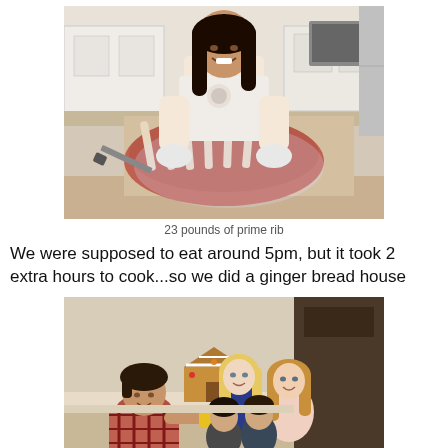[Figure (photo): A smiling woman in a kitchen holding a large 23-pound prime rib roast on a cutting board, wearing an apron and gloves. Kitchen with white cabinets and stainless steel appliances in background.]
23 pounds of prime rib
We were supposed to eat around 5pm, but it took 2 extra hours to cook...so we did a ginger bread house
[Figure (photo): Children and adults gathered around a table making a gingerbread house. A young boy in a plaid shirt is in the foreground, with a blonde woman and another woman with children in the background.]